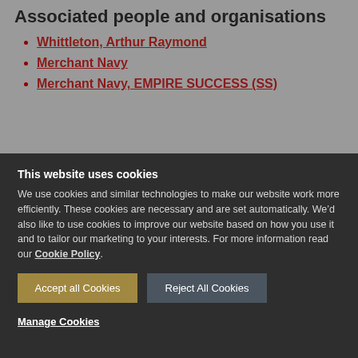Associated people and organisations
Whittleton, Arthur Raymond
Merchant Navy
Merchant Navy, EMPIRE SUCCESS (SS)
This website uses cookies
We use cookies and similar technologies to make our website work more efficiently. These cookies are necessary and are set automatically. We’d also like to use cookies to improve our website based on how you use it and to tailor our marketing to your interests. For more information read our Cookie Policy.
Accept all Cookies
Reject All Cookies
Manage Cookies